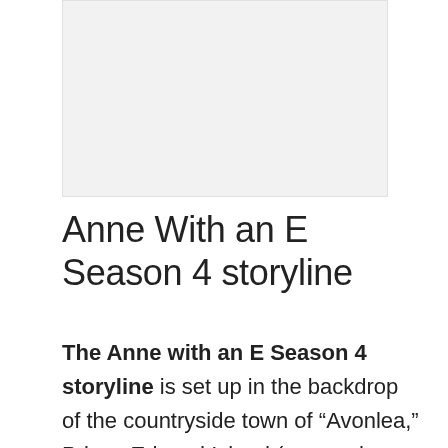[Figure (other): Light gray rectangular image placeholder area at the top of the page]
Anne With an E Season 4 storyline
The Anne with an E Season 4 storyline is set up in the backdrop of the countryside town of “Avonlea,” Prince Edward Island ( somewhere in Canada). This is a wonderful tale about a young orphan girl who comes across various circumstances and how she overcomes them with her sweet and joyful attitude.